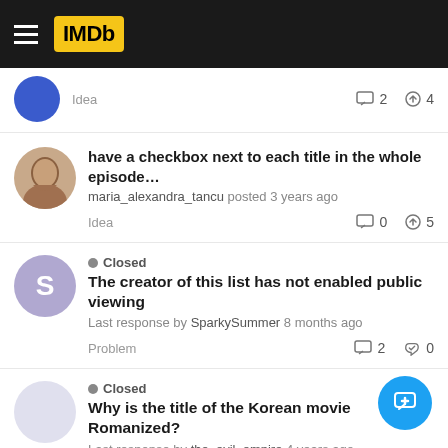IMDb
Idea | 2 comments | 4 upvotes (partial item at top)
have a checkbox next to each title in the whole episode... — maria_alexandra_tancu posted 3 years ago — Idea — 0 comments — 5 upvotes
Closed — The creator of this list has not enabled public viewing — Last response by SparkySummer 8 months ago — Problem — 2 comments — 0 likes
Closed — Why is the title of the Korean movie Romanized? — Last response by the_evil_empire 4 years ago — Question — 1 comment — 1 like
Closed — [ Question for those that make Lists ] — Last response by jeorj_euler 4 years ago